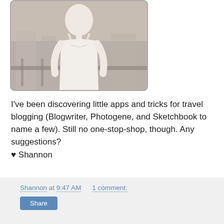[Figure (photo): Photo of a woman in a white top, partially cropped, with architectural ruins in the background]
I've been discovering little apps and tricks for travel blogging (Blogwriter, Photogene, and Sketchbook to name a few). Still no one-stop-shop, though. Any suggestions?
♥ Shannon
Shannon at 9:47 AM   1 comment:
Share
Sunday, October 17, 2010
Sunday Lovely
Here are some great images of West Elm products. Enjoy!
[Figure (photo): Photo of a decorative item, possibly a lamp or flower arrangement, in front of a window with a dark frame]